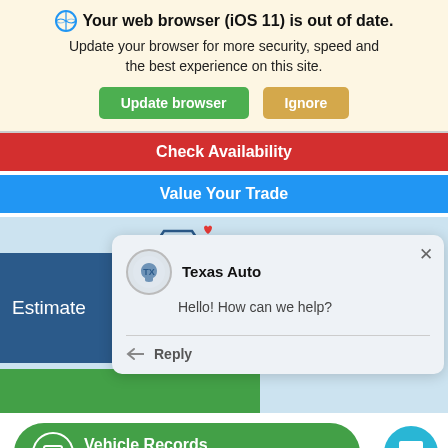Your web browser (iOS 11) is out of date. Update your browser for more security, speed and the best experience on this site.
Update browser
Ignore
Check Availability
Value Your Trade
[Figure (screenshot): Car dealer website UI with chat popup, Texas Auto chatbot saying Hello! How can we help?, Estimate panel, and green bar]
Texas Auto
Hello! How can we help?
Reply
Vehicle Records Powered by iPacket
[Figure (screenshot): Cyan chat circle button at bottom right]